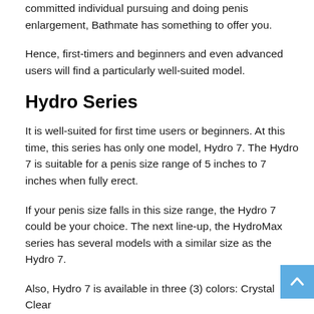committed individual pursuing and doing penis enlargement, Bathmate has something to offer you.
Hence, first-timers and beginners and even advanced users will find a particularly well-suited model.
Hydro Series
It is well-suited for first time users or beginners. At this time, this series has only one model, Hydro 7. The Hydro 7 is suitable for a penis size range of 5 inches to 7 inches when fully erect.
If your penis size falls in this size range, the Hydro 7 could be your choice. The next line-up, the HydroMax series has several models with a similar size as the Hydro 7.
Also, Hydro 7 is available in three (3) colors: Crystal Clear